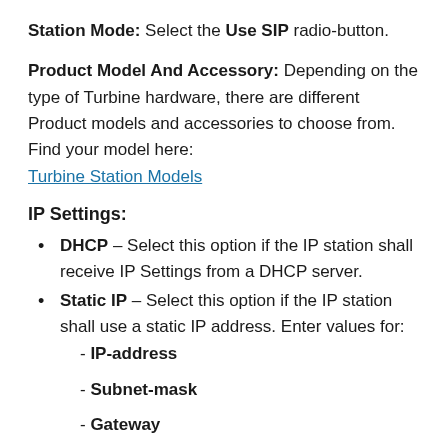Station Mode: Select the Use SIP radio-button.
Product Model And Accessory: Depending on the type of Turbine hardware, there are different Product models and accessories to choose from. Find your model here: Turbine Station Models
IP Settings:
DHCP – Select this option if the IP station shall receive IP Settings from a DHCP server.
Static IP – Select this option if the IP station shall use a static IP address. Enter values for:
- IP-address
- Subnet-mask
- Gateway
- DNS Server 1 (option for network administrators)